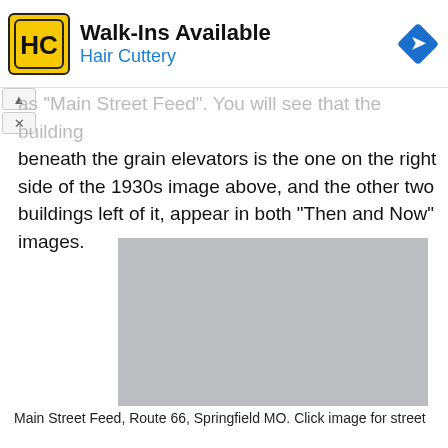[Figure (other): Hair Cuttery advertisement banner with HC logo, text 'Walk-Ins Available / Hair Cuttery', and a blue navigation road sign icon]
…as 'Main Street Feed'. You will see that the building beneath the grain elevators is the one on the right side of the 1930s image above, and the other two buildings left of it, appear in both "Then and Now" images.
[Figure (photo): Gray placeholder image of Main Street Feed, Route 66, Springfield MO]
Main Street Feed, Route 66, Springfield MO. Click image for street